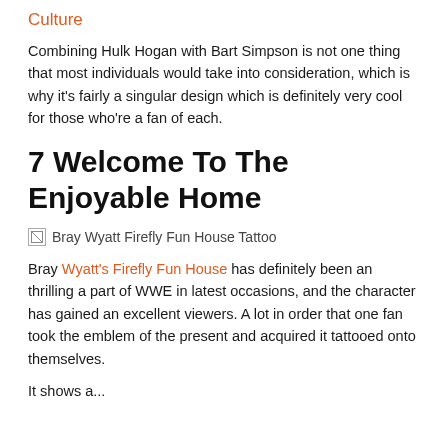Culture
Combining Hulk Hogan with Bart Simpson is not one thing that most individuals would take into consideration, which is why it’s fairly a singular design which is definitely very cool for those who’re a fan of each.
7 Welcome To The Enjoyable Home
[Figure (photo): Bray Wyatt Firefly Fun House Tattoo image (broken/missing image placeholder)]
Bray Wyatt’s Firefly Fun House has definitely been an thrilling a part of WWE in latest occasions, and the character has gained an excellent viewers. A lot in order that one fan took the emblem of the present and acquired it tattooed onto themselves.
It shows a...